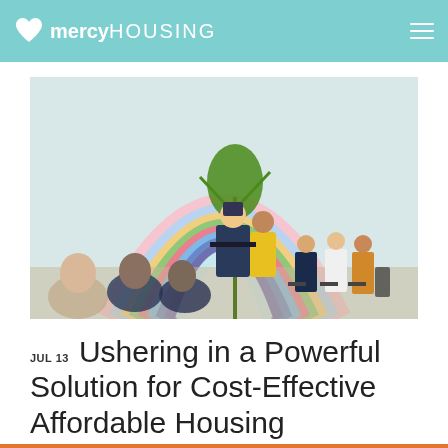mercy HOUSING
[Figure (photo): Outdoor event with people seated watching a speaker at a podium in front of a colorful rainbow arch mural, with a palm plant in the background.]
JUL 13 Ushering in a Powerful Solution for Cost-Effective Affordable Housing